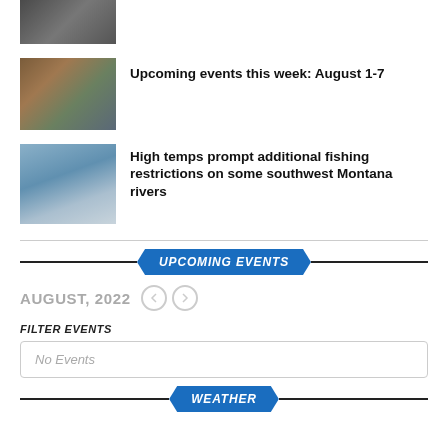[Figure (photo): Partial top image, cropped at top of page]
[Figure (photo): Events calendar collage image]
Upcoming events this week: August 1-7
[Figure (photo): People fly fishing in a river]
High temps prompt additional fishing restrictions on some southwest Montana rivers
UPCOMING EVENTS
AUGUST, 2022
FILTER EVENTS
No Events
WEATHER